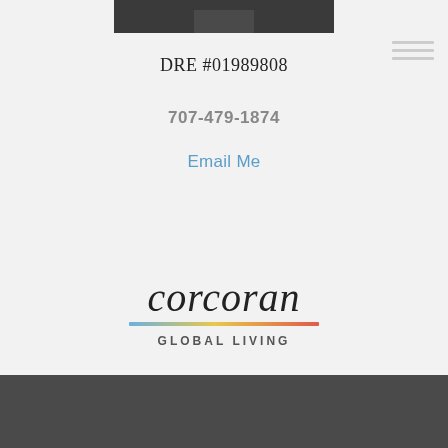[Figure (photo): Partial photo of a person in a dark jacket at the top of the page]
DRE #01989808
707-479-1874
Email Me
[Figure (logo): Corcoran Global Living logo with script corcoran text, multicolor gradient bar, and GLOBAL LIVING text]